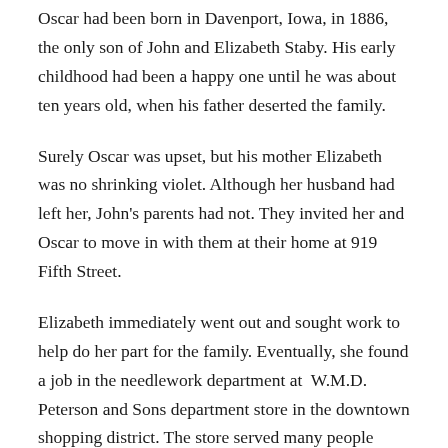Oscar had been born in Davenport, Iowa, in 1886, the only son of John and Elizabeth Staby. His early childhood had been a happy one until he was about ten years old, when his father deserted the family.
Surely Oscar was upset, but his mother Elizabeth was no shrinking violet. Although her husband had left her, John's parents had not. They invited her and Oscar to move in with them at their home at 919 Fifth Street.
Elizabeth immediately went out and sought work to help do her part for the family. Eventually, she found a job in the needlework department at  W.M.D. Peterson and Sons department store in the downtown shopping district. The store served many people around the area, not the least of which were the wealthy upper class of the city.
In just a short amount of time, Elizabeth, a hard worker who was good with people, had climbed the ladder to become head of her...